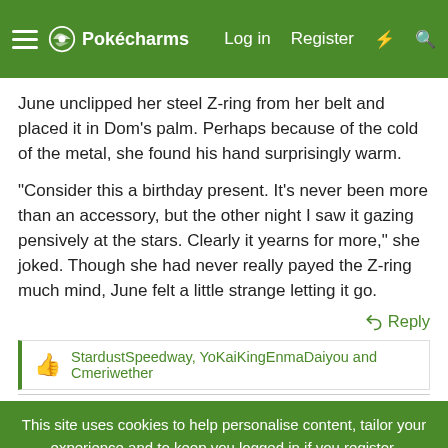Pokécharms — Log in | Register
June unclipped her steel Z-ring from her belt and placed it in Dom's palm. Perhaps because of the cold of the metal, she found his hand surprisingly warm.
"Consider this a birthday present. It's never been more than an accessory, but the other night I saw it gazing pensively at the stars. Clearly it yearns for more," she joked. Though she had never really payed the Z-ring much mind, June felt a little strange letting it go.
↩ Reply
StardustSpeedway, YoKaiKingEnmaDaiyou and Cmeriwether
This site uses cookies to help personalise content, tailor your experience and to keep you logged in if you register.
By continuing to use this site, you are consenting to our use of cookies.